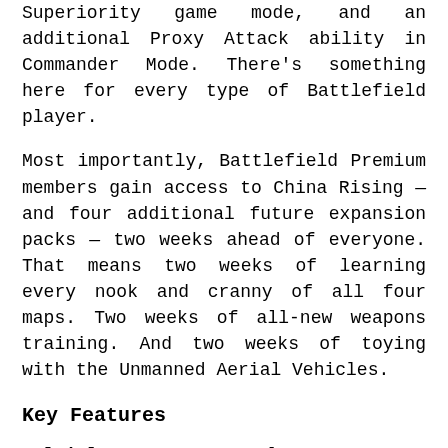Superiority game mode, and an additional Proxy Attack ability in Commander Mode. There's something here for every type of Battlefield player.
Most importantly, Battlefield Premium members gain access to China Rising — and four additional future expansion packs — two weeks ahead of everyone. That means two weeks of learning every nook and cranny of all four maps. Two weeks of all-new weapons training. And two weeks of toying with the Unmanned Aerial Vehicles.
Key Features
Multiplayer Maps: 64-player war over locations across China. Continue the fight in brand new